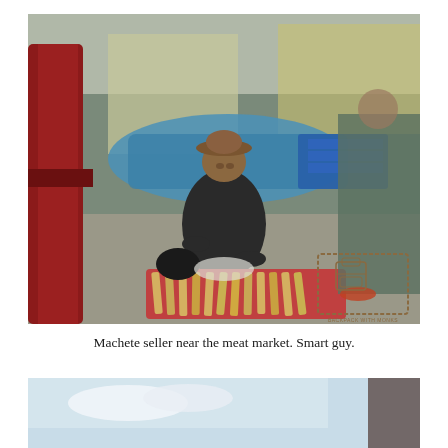[Figure (photo): A man in a brown hat sits cross-legged on a colorful cloth on a street, selling machetes laid out in front of him. In the background there is a blue tarp, market stalls, and people walking by. A red coat is visible on the left edge. A watermark logo reading 'BACKPACK WITH MONKS' appears in the lower right corner.]
Machete seller near the meat market. Smart guy.
[Figure (photo): Partial view of a street scene with blue sky and the edge of a building visible at the bottom of the page.]